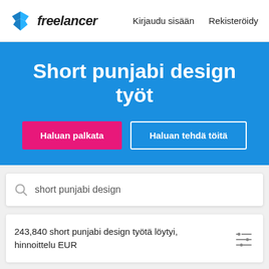Freelancer — Kirjaudu sisään  Rekisteröidy
Short punjabi design työt
Haluan palkata
Haluan tehdä töitä
short punjabi design
243,840 short punjabi design työtä löytyi, hinnoittelu EUR